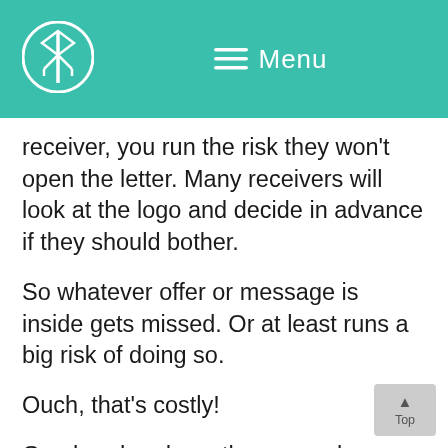Menu
receiver, you run the risk they won't open the letter. Many receivers will look at the logo and decide in advance if they should bother.
So whatever offer or message is inside gets missed. Or at least runs a big risk of doing so.
Ouch, that's costly!
Go ahead and use these envelopes with your customers. Send them offers and newsletters. Send them letters.